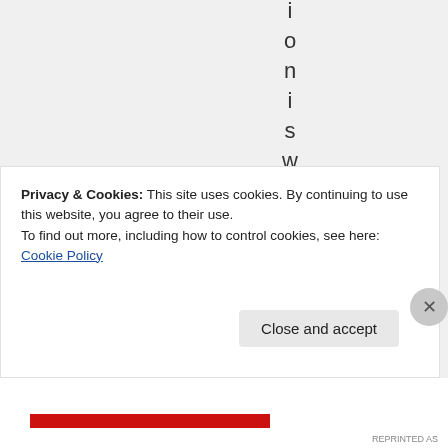i o n i s w e l l a w
Privacy & Cookies: This site uses cookies. By continuing to use this website, you agree to their use. To find out more, including how to control cookies, see here: Cookie Policy